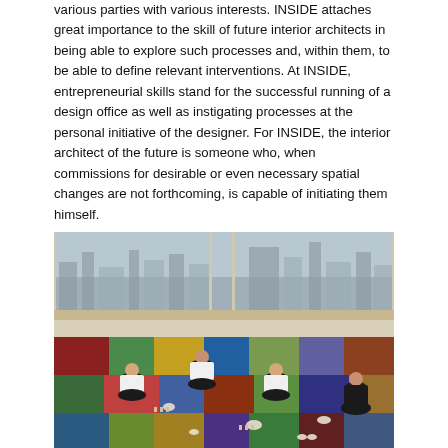various parties with various interests. INSIDE attaches great importance to the skill of future interior architects in being able to explore such processes and, within them, to be able to define relevant interventions. At INSIDE, entrepreneurial skills stand for the successful running of a design office as well as instigating processes at the personal initiative of the designer. For INSIDE, the interior architect of the future is someone who, when commissions for desirable or even necessary spatial changes are not forthcoming, is capable of initiating them himself.
[Figure (photo): Four people sitting on colorful patchwork carpet tiles on the floor of a large room with floor-to-ceiling windows overlooking a city skyline. They appear to be engaged in a design workshop activity, working with small objects placed on the carpet.]